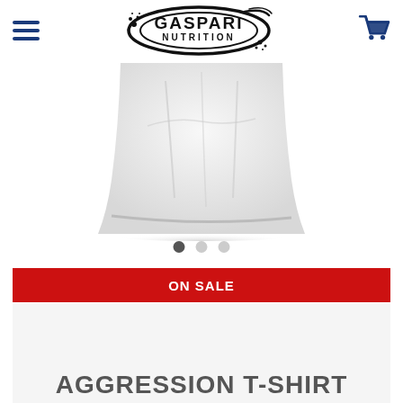[Figure (logo): Gaspari Nutrition logo — black oval/ellipse with splatter marks and bold text GASPARI NUTRITION inside]
[Figure (photo): White t-shirt product photo showing the bottom hem/lower portion of the shirt on a white background]
[Figure (infographic): Three carousel indicator dots — first filled dark, second and third lighter grey]
ON SALE
AGGRESSION T-SHIRT